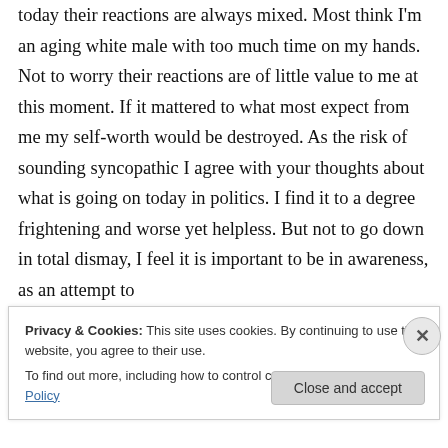today their reactions are always mixed. Most think I'm an aging white male with too much time on my hands. Not to worry their reactions are of little value to me at this moment. If it mattered to what most expect from me my self-worth would be destroyed. As the risk of sounding syncopathic I agree with your thoughts about what is going on today in politics. I find it to a degree frightening and worse yet helpless. But not to go down in total dismay, I feel it is important to be in awareness, as an attempt to
Privacy & Cookies: This site uses cookies. By continuing to use this website, you agree to their use.
To find out more, including how to control cookies, see here: Cookie Policy